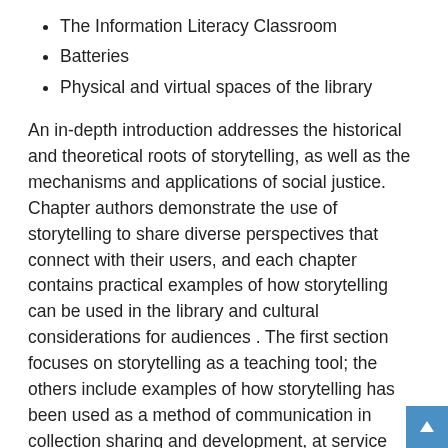The Information Literacy Classroom
Batteries
Physical and virtual spaces of the library
An in-depth introduction addresses the historical and theoretical roots of storytelling, as well as the mechanisms and applications of social justice. Chapter authors demonstrate the use of storytelling to share diverse perspectives that connect with their users, and each chapter contains practical examples of how storytelling can be used in the library and cultural considerations for audiences . The first section focuses on storytelling as a teaching tool; the others include examples of how storytelling has been used as a method of communication in collection sharing and development, at service points and in online spaces.
“Once Upon a Time in the University Library” is available for purchase in to print and as Ebook through the ALA online store; in print via Amazon.com; and by phone order at (866) 746-7252 in the United States or (770) 442-8633 for international